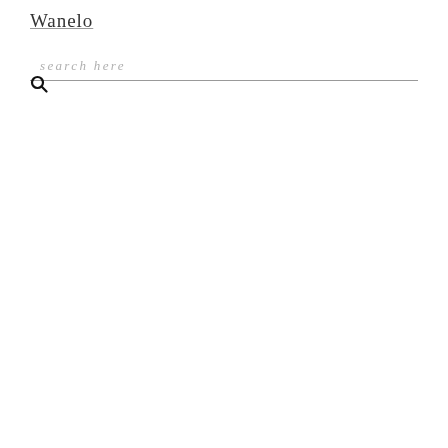Wanelo
search here
[Figure (other): Search magnifying glass icon]